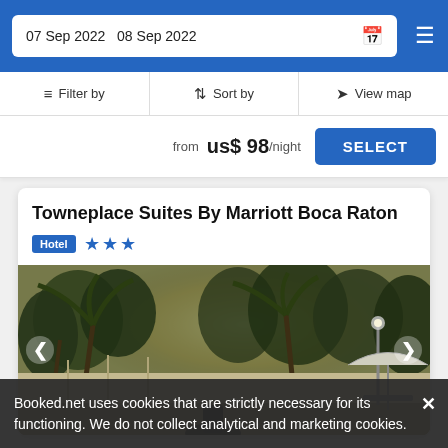07 Sep 2022   08 Sep 2022
Filter by   Sort by   View map
from  us$ 98/night   SELECT
Towneplace Suites By Marriott Boca Raton
Hotel ★★★
[Figure (photo): Outdoor area of Towneplace Suites hotel in Boca Raton, showing palm trees, a white fence/wall, an umbrella with outdoor seating area, warm sunset light filtering through trees]
Booked.net uses cookies that are strictly necessary for its functioning. We do not collect analytical and marketing cookies.